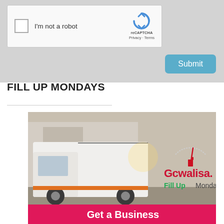[Figure (screenshot): reCAPTCHA widget with checkbox labeled 'I'm not a robot', reCAPTCHA logo, Privacy and Terms links, and a Submit button below on a grey background]
FILL UP MONDAYS
[Figure (photo): Advertisement image for Gcwalisa Fill Up Mondays showing a white delivery truck at a fuel station, with the Gcwalisa logo and text 'Fill Up Mondays' and 'Get a Business' on a red banner at the bottom]